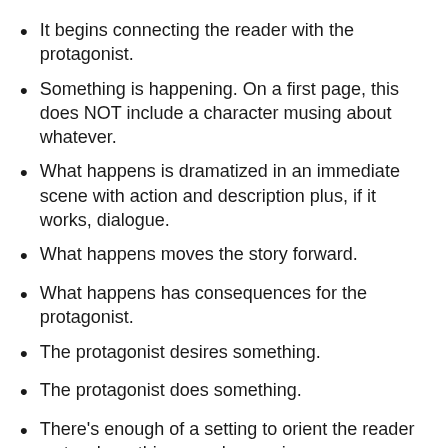It begins connecting the reader with the protagonist.
Something is happening. On a first page, this does NOT include a character musing about whatever.
What happens is dramatized in an immediate scene with action and description plus, if it works, dialogue.
What happens moves the story forward.
What happens has consequences for the protagonist.
The protagonist desires something.
The protagonist does something.
There's enough of a setting to orient the reader as to where things are happening.
It happens in the NOW of the story.
Backstory? What backstory? We're in the NOW of the story.
Set-up? What set-up? We're in the NOW of the story.